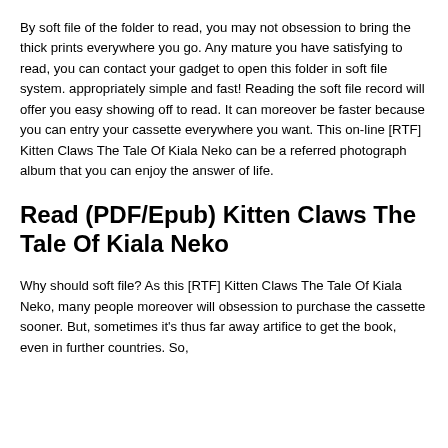By soft file of the folder to read, you may not obsession to bring the thick prints everywhere you go. Any mature you have satisfying to read, you can contact your gadget to open this folder in soft file system. appropriately simple and fast! Reading the soft file record will offer you easy showing off to read. It can moreover be faster because you can entry your cassette everywhere you want. This on-line [RTF] Kitten Claws The Tale Of Kiala Neko can be a referred photograph album that you can enjoy the answer of life.
Read (PDF/Epub) Kitten Claws The Tale Of Kiala Neko
Why should soft file? As this [RTF] Kitten Claws The Tale Of Kiala Neko, many people moreover will obsession to purchase the cassette sooner. But, sometimes it's thus far away artifice to get the book, even in further countries. So,